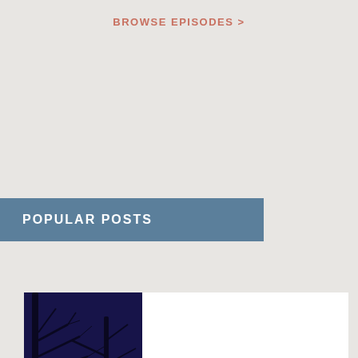BROWSE EPISODES >
POPULAR POSTS
[Figure (photo): Dark night sky photo with bare tree branches silhouetted against a deep blue-purple sky, with a reddish moon visible through the branches.]
31 spooky (but not too scary) books for your fall reading list